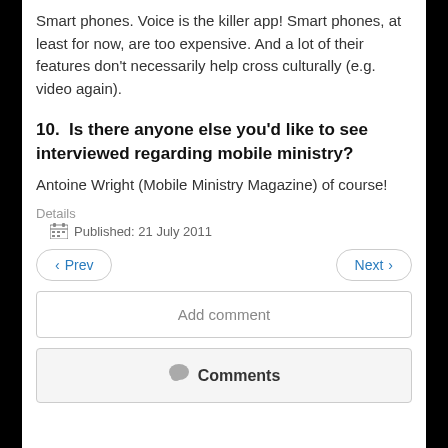Smart phones. Voice is the killer app! Smart phones, at least for now, are too expensive. And a lot of their features don't necessarily help cross culturally (e.g. video again).
10.  Is there anyone else you'd like to see interviewed regarding mobile ministry?
Antoine Wright (Mobile Ministry Magazine) of course!
Details
Published: 21 July 2011
Prev
Next
Add comment
Comments